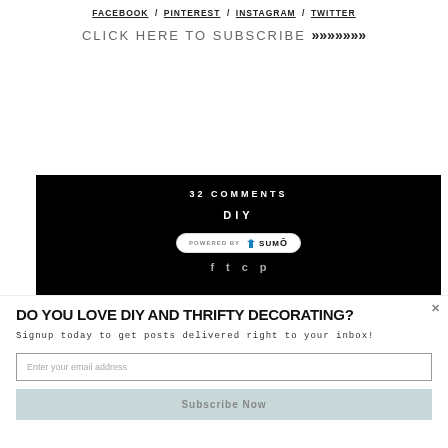FACEBOOK / PINTEREST / INSTAGRAM / TWITTER
CLICK HERE TO SUBSCRIBE >>>>>>>
[Figure (screenshot): Black banner with '32 COMMENTS', 'DIY', 'POWERED BY SUMO' badge, and partial social sharing icons]
DO YOU LOVE DIY AND THRIFTY DECORATING?
Signup today to get posts delivered right to your inbox!
Enter your email address
Subscribe Now